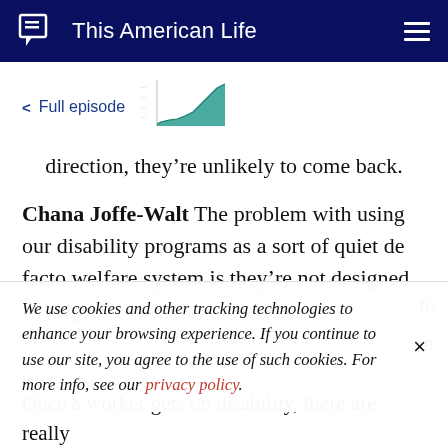This American Life
< Full episode
[Figure (area-chart): Small thumbnail area chart showing an upward trend, teal/green colored]
direction, they’re unlikely to come back.
Chana Joffe-Walt The problem with using our disability programs as a sort of quiet de facto welfare system is they’re not designed to help
We use cookies and other tracking technologies to enhance your browsing experience. If you continue to use our site, you agree to the use of such cookies. For more info, see our privacy policy.
Once a worker gets on disability, there are really